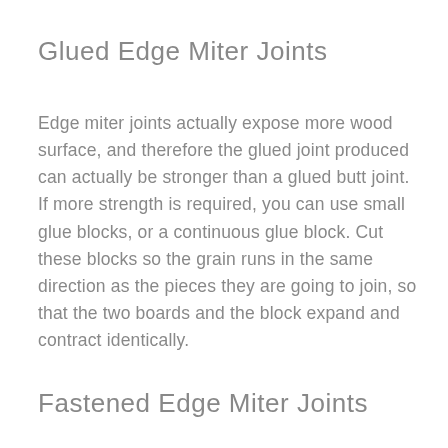Glued Edge Miter Joints
Edge miter joints actually expose more wood surface, and therefore the glued joint produced can actually be stronger than a glued butt joint. If more strength is required, you can use small glue blocks, or a continuous glue block. Cut these blocks so the grain runs in the same direction as the pieces they are going to join, so that the two boards and the block expand and contract identically.
Fastened Edge Miter Joints